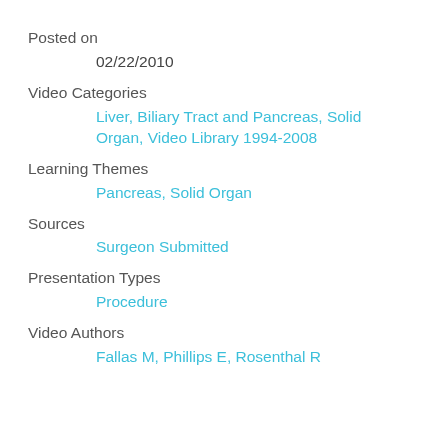Posted on
02/22/2010
Video Categories
Liver, Biliary Tract and Pancreas, Solid Organ, Video Library 1994-2008
Learning Themes
Pancreas, Solid Organ
Sources
Surgeon Submitted
Presentation Types
Procedure
Video Authors
Fallas M, Phillips E, Rosenthal R